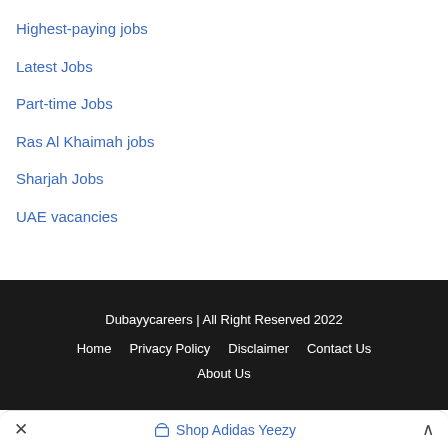Highest-paying jobs
Latest Jobs
Part-time Jobs
Ras Al Khaimah jobs
Sharjah Jobs
UAE vacancies
Dubayycareers | All Right Reserved 2022
Home   Privacy Policy   Disclaimer   Contact Us
About Us
✕   Shop Adidas Yeezy   ∧